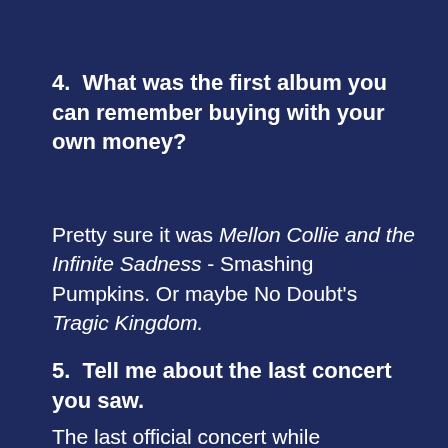4.  What was the first album you can remember buying with your own money?
Pretty sure it was Mellon Collie and the Infinite Sadness - Smashing Pumpkins. Or maybe No Doubt's Tragic Kingdom.
5.  Tell me about the last concert you saw.
The last official concert while